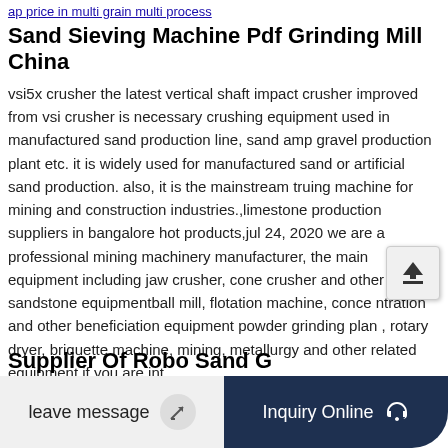ap price in multi grain multi process
Sand Sieving Machine Pdf Grinding Mill China
vsi5x crusher the latest vertical shaft impact crusher improved from vsi crusher is necessary crushing equipment used in manufactured sand production line, sand amp gravel production plant etc. it is widely used for manufactured sand or artificial sand production. also, it is the mainstream truing machine for mining and construction industries.,limestone production suppliers in bangalore hot products,jul 24, 2020 we are a professional mining machinery manufacturer, the main equipment including jaw crusher, cone crusher and other sandstone equipmentball mill, flotation machine, concentration and other beneficiation equipment powder grinding plant, rotary dryer, briquette machine, mining, metallurgy and other related equipment.if you are interested in our products...
leave message
Inquiry Online
Supplier Of Robo Sand G